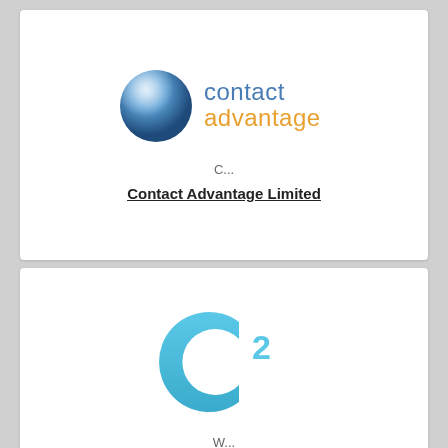[Figure (logo): Contact Advantage logo: blue 3D sphere on left, with 'contact' in blue and 'advantage' in orange text on right]
C...
Contact Advantage Limited
[Figure (logo): Continuity2 Ltd logo: large blue letter C with superscript 2, styled in light blue]
W...
Continuity2 Ltd